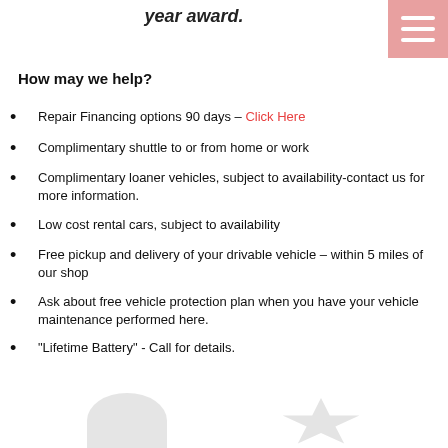year award.
How may we help?
Repair Financing options 90 days – Click Here
Complimentary shuttle to or from home or work
Complimentary loaner vehicles, subject to availability-contact us for more information.
Low cost rental cars, subject to availability
Free pickup and delivery of your drivable vehicle – within 5 miles of our shop
Ask about free vehicle protection plan when you have your vehicle maintenance performed here.
"Lifetime Battery" - Call for details.
[Figure (illustration): Partial decorative images at the bottom of the page]